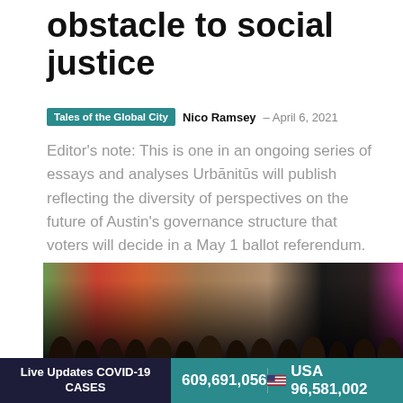obstacle to social justice
Tales of the Global City  Nico Ramsey  –  April 6, 2021
Editor's note: This is one in an ongoing series of essays and analyses Urbānitūs will publish reflecting the diversity of perspectives on the future of Austin's governance structure that voters will decide in a May 1 ballot referendum. The views here reflect the opinions of the authors who represent the advocacy organization Austin for All People. Over the past few months, a group of political insiders has...
[Figure (photo): Group of people gathered, with colorful backpacks visible in the background]
Live Updates COVID-19 CASES   609,691,056   USA 96,581,002